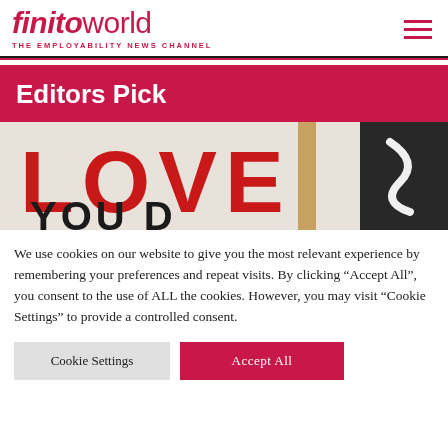finitoworld THE EMPLOYABILITY NEWS CHANNEL
Editors Pick
[Figure (photo): Close-up photo of a sign or banner with large red letters spelling 'LOVE' on a white background, with partial text below, and a dark background visible on the right side.]
We use cookies on our website to give you the most relevant experience by remembering your preferences and repeat visits. By clicking “Accept All”, you consent to the use of ALL the cookies. However, you may visit "Cookie Settings" to provide a controlled consent.
Cookie Settings
Accept All